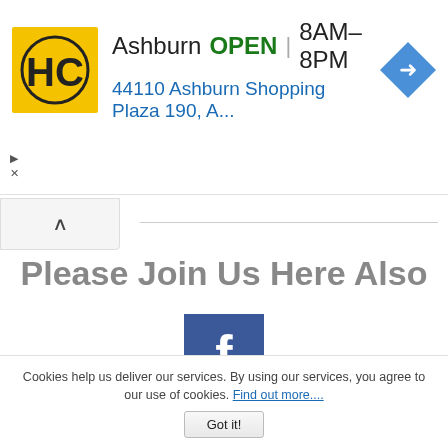[Figure (screenshot): Advertisement banner for HC (Hairclub or similar) business in Ashburn showing OPEN 8AM-8PM, address 44110 Ashburn Shopping Plaza 190, A..., with navigation arrow icon and yellow HC logo]
Please Join Us Here Also
[Figure (infographic): Stack of three social media icons: Facebook (blue with white f), Pinterest (red with white P pin icon), RSS feed (orange/yellow with white RSS icon)]
Cookies help us deliver our services. By using our services, you agree to our use of cookies. Find out more....
Got it!